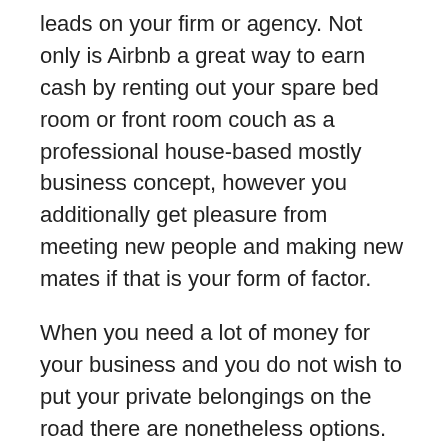leads on your firm or agency. Not only is Airbnb a great way to earn cash by renting out your spare bed room or front room couch as a professional house-based mostly business concept, however you additionally get pleasure from meeting new people and making new mates if that is your form of factor.
When you need a lot of money for your business and you do not wish to put your private belongings on the road there are nonetheless options. Tourism steerage is likely one of the best startup enterprise concepts if they reside in a vacationer space.
With increasingly individuals demanding a higher degree of personalization in absolutely anything they personal or use, rely your self fortunate in case your craft happens to be the creation of customized